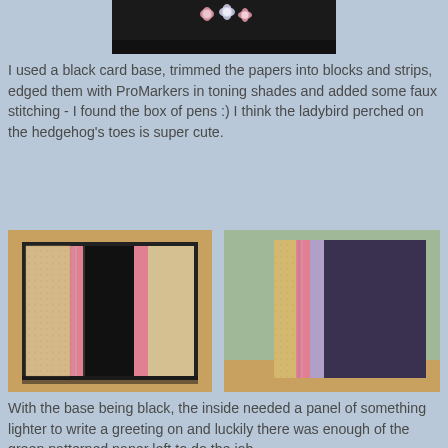[Figure (photo): Top portion of a decorative card or scrapbook page with flowers on a dark background, partially visible at top of page]
I used a black card base, trimmed the papers into blocks and strips, edged them with ProMarkers in toning shades and added some faux stitching - I found the box of pens :) I think the ladybird perched on the hedgehog's toes is super cute.
[Figure (photo): Open black card/album showing interior with patterned paper panels - tan dotted paper and striped pink/purple paper visible, card stands open on wooden surface]
[Figure (photo): Closed dark purple/black card showing spine area with layered paper strips - tan dotted and pink/purple striped papers visible on left edge, green background]
With the base being black, the inside needed a panel of something lighter to write a greeting on and luckily there was enough of the green patterned paper left to do the job.
So lots of snippets used in both the scrap page and the card and that means I can pop over to the Pixies Snippet